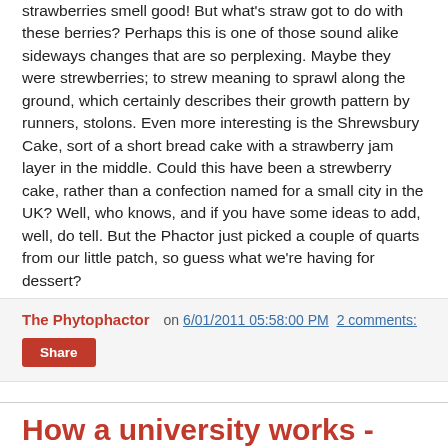strawberries smell good! But what's straw got to do with these berries? Perhaps this is one of those sound alike sideways changes that are so perplexing. Maybe they were strewberries; to strew meaning to sprawl along the ground, which certainly describes their growth pattern by runners, stolons. Even more interesting is the Shrewsbury Cake, sort of a short bread cake with a strawberry jam layer in the middle. Could this have been a strewberry cake, rather than a confection named for a small city in the UK? Well, who knows, and if you have some ideas to add, well, do tell. But the Phactor just picked a couple of quarts from our little patch, so guess what we're having for dessert?
The Phytophactor  on  6/01/2011 05:58:00 PM  2 comments:
Share
How a university works - summer salary